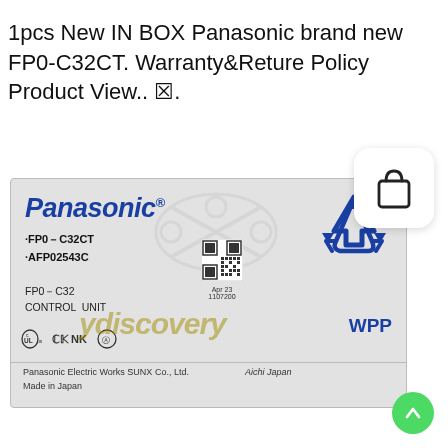1pcs New IN BOX Panasonic brand new FP0-C32CT. Warranty&Reture Policy Product View.. ☒.
[Figure (photo): Photo of a Panasonic FP0-C32CT Control Unit product box. The box is light gray, showing the Panasonic brand name in blue italics, model numbers FP0-C32CT and AFP02543C, text 'FP0-C32 CONTROL UNIT', certification marks (UL, CE, NK), a recycle symbol in blue, a QR code, 'ydiscovery' watermark, 'WPP' text, and manufacturer info 'Panasonic Electric Works SUNX Co., Ltd. Aichi Japan. Made in Japan'. A shopping bag icon appears in a white rounded card overlay in the upper right, and a green scroll-up button in the lower right.]